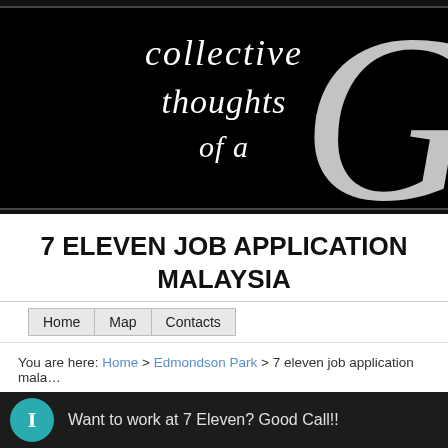[Figure (screenshot): Blog banner with black background showing cursive/script text 'collective thoughts of a' and a large decorative white letter G on the right]
7 ELEVEN JOB APPLICATION MALAYSIA
Home   Map   Contacts
You are here: Home > Edmondson Park > 7 eleven job application mala...
[Figure (screenshot): Preview bar at bottom showing teal circle icon and text 'Want to work at 7 Eleven? Good Call!!']